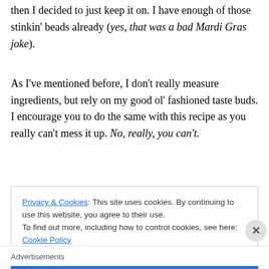then I decided to just keep it on. I have enough of those stinkin' beads already (yes, that was a bad Mardi Gras joke).
As I've mentioned before, I don't really measure ingredients, but rely on my good ol' fashioned taste buds. I encourage you to do the same with this recipe as you really can't mess it up. No, really, you can't.
Privacy & Cookies: This site uses cookies. By continuing to use this website, you agree to their use.
To find out more, including how to control cookies, see here: Cookie Policy
Close and accept
Advertisements